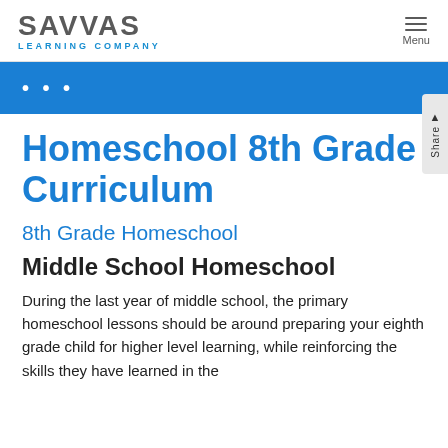SAVVAS LEARNING COMPANY
Homeschool 8th Grade Curriculum
8th Grade Homeschool
Middle School Homeschool
During the last year of middle school, the primary homeschool lessons should be around preparing your eighth grade child for higher level learning, while reinforcing the skills they have learned in the